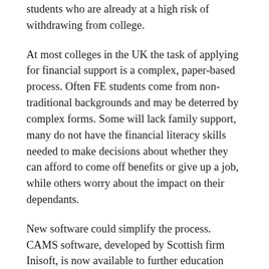students who are already at a high risk of withdrawing from college.
At most colleges in the UK the task of applying for financial support is a complex, paper-based process. Often FE students come from non-traditional backgrounds and may be deterred by complex forms. Some will lack family support, many do not have the financial literacy skills needed to make decisions about whether they can afford to come off benefits or give up a job, while others worry about the impact on their dependants.
New software could simplify the process. CAMS software, developed by Scottish firm Inisoft, is now available to further education providers in England and Scotland.
CAMS helps FE providers to streamline their funding application and approval processes. Colleges have experienced significant cuts to their administration